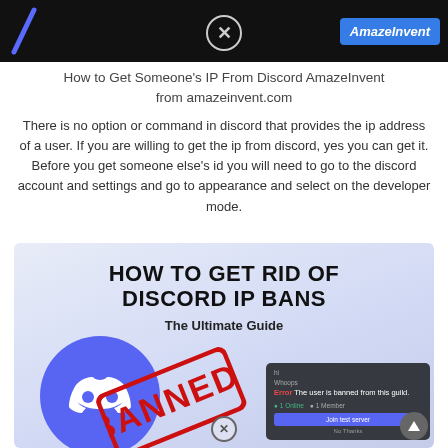[Figure (screenshot): Dark banner with diagonal slash logo on left, circular X close button in center, blue AmazeInvent logo button on right]
How to Get Someone’s IP From Discord AmazeInvent from amazeinvent.com
There is no option or command in discord that provides the ip address of a user. If you are willing to get the ip from discord, yes you can get it. Before you get someone else’s id you will need to go to the discord account and settings and go to appearance and select on the developer mode.
[Figure (infographic): Infographic with light blue/purple gradient background showing HOW TO GET RID OF DISCORD IP BANS - The Ultimate Guide, with Discord logo circle, BANNED stamp overlay, and Discord error screenshot showing 'The user is banned from this guild.']